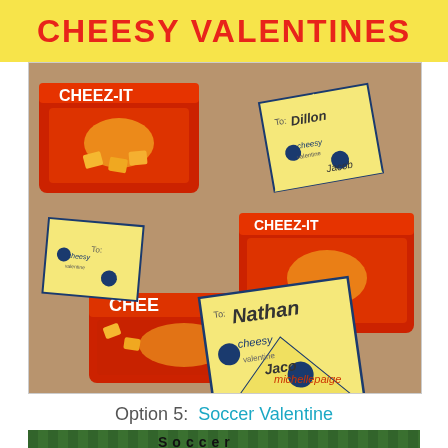CHEESY VALENTINES
[Figure (photo): Photo of Cheez-It snack packages decorated with handmade cheese-wedge shaped valentine cards reading 'cheesy valentine' with names like Dillon, Nathan, Jacob written on them]
Option 5:  Soccer Valentine
[Figure (photo): Partial photo of a green grass soccer field background with the word Soccer visible at the bottom]